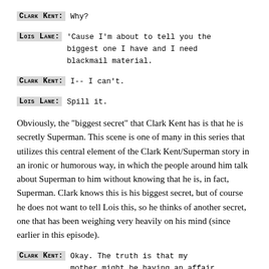Clark Kent: Why?
Lois Lane: 'Cause I'm about to tell you the biggest one I have and I need blackmail material.
Clark Kent: I-- I can't.
Lois Lane: Spill it.
Obviously, the "biggest secret" that Clark Kent has is that he is secretly Superman. This scene is one of many in this series that utilizes this central element of the Clark Kent/Superman story in an ironic or humorous way, in which the people around him talk about Superman to him without knowing that he is, in fact, Superman. Clark knows this is his biggest secret, but of course he does not want to tell Lois this, so he thinks of another secret, one that has been weighing very heavily on his mind (since earlier in this episode).
Clark Kent: Okay. The truth is that my mother might be having an affair with a younger man.